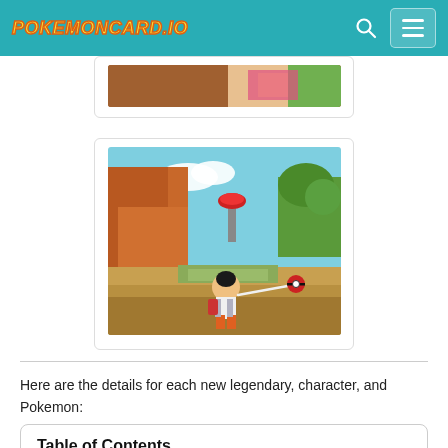PokemonCard.Io
[Figure (photo): Partial view of a Pokemon-themed image, partially cut off at top of page]
[Figure (photo): 3D rendered game screenshot of a Pokemon trainer character throwing a Pokeball in an open-world rocky canyon environment with blue sky]
Here are the details for each new legendary, character, and Pokemon:
Table of Contents
Legendary